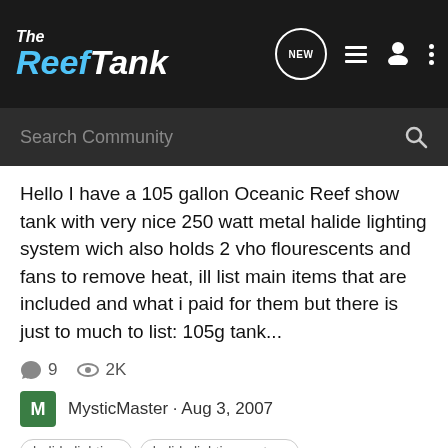The Reef Tank
Hello I have a 105 gallon Oceanic Reef show tank with very nice 250 watt metal halide lighting system wich also holds 2 vho flourescents and fans to remove heat, ill list main items that are included and what i paid for them but there is just to much to list: 105g tank...
9  2K
MysticMaster · Aug 3, 2007
halide lighting  halide lighting system  metal halide light  metal halide lighting  metal halide lighting system  metal halide system
MHs and fans in the canopy...a word of caution
General Reef Discussion